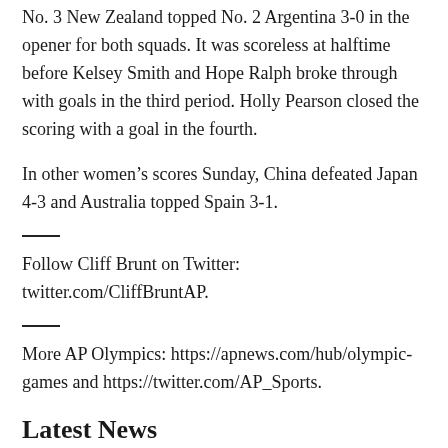No. 3 New Zealand topped No. 2 Argentina 3-0 in the opener for both squads. It was scoreless at halftime before Kelsey Smith and Hope Ralph broke through with goals in the third period. Holly Pearson closed the scoring with a goal in the fourth.
In other women’s scores Sunday, China defeated Japan 4-3 and Australia topped Spain 3-1.
Follow Cliff Brunt on Twitter: twitter.com/CliffBruntAP.
More AP Olympics: https://apnews.com/hub/olympic-games and https://twitter.com/AP_Sports.
Latest News